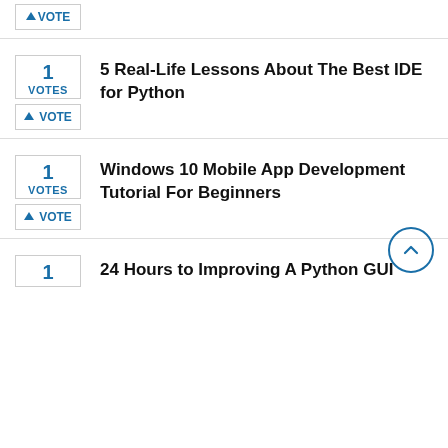↑VOTE (partial, top of page)
1 VOTES — 5 Real-Life Lessons About The Best IDE for Python — ↑VOTE
1 VOTES — Windows 10 Mobile App Development Tutorial For Beginners — ↑VOTE
1 VOTES — 24 Hours to Improving A Python GUI